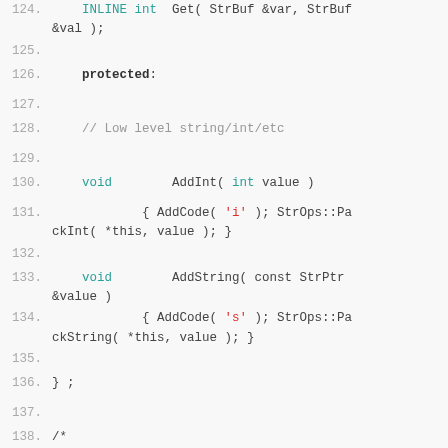[Figure (screenshot): Source code listing showing C++ class methods, lines 124-142, including INLINE Get, protected section, AddInt, AddString methods, and a block comment about RubyDict.]